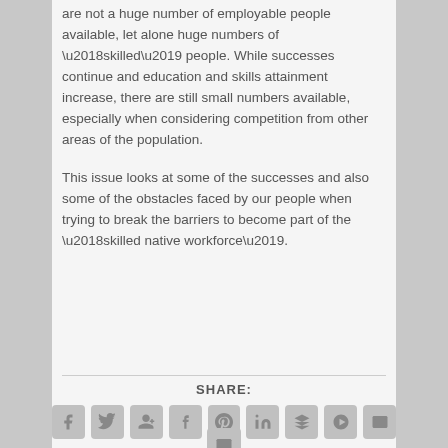are not a huge number of employable people available, let alone huge numbers of ‘skilled’ people. While successes continue and education and skills attainment increase, there are still small numbers available, especially when considering competition from other areas of the population.

This issue looks at some of the successes and also some of the obstacles faced by our people when trying to break the barriers to become part of the ‘skilled native workforce’.
SHARE: